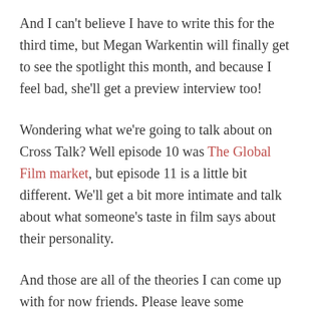And I can't believe I have to write this for the third time, but Megan Warkentin will finally get to see the spotlight this month, and because I feel bad, she'll get a preview interview too!
Wondering what we're going to talk about on Cross Talk? Well episode 10 was The Global Film market, but episode 11 is a little bit different. We'll get a bit more intimate and talk about what someone's taste in film says about their personality.
And those are all of the theories I can come up with for now friends. Please leave some